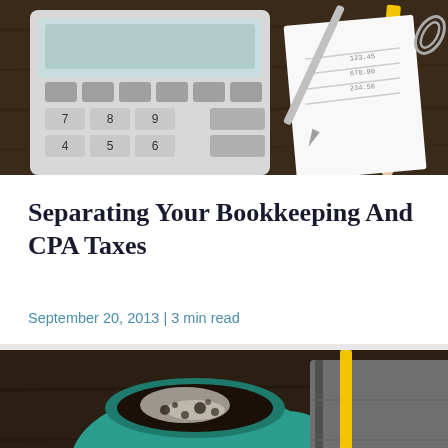[Figure (photo): Overhead view of a calculator, pen, papers with numbers, and a yellow pencil on a dark wooden desk — accounting/finance themed office scene]
Separating Your Bookkeeping And CPA Taxes
September 20, 2013 | 3 min read
[Figure (photo): Overhead view of a teal coffee cup on a saucer, a yellow pencil, a gray notebook, and what appears to be a small tablet on a dark wooden desk — with a teal chat bubble icon overlay in the bottom right]